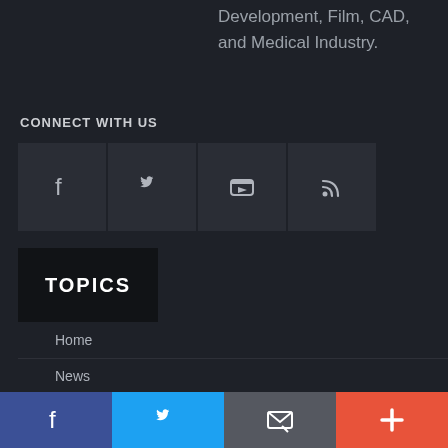Development, Film, CAD, and Medical Industry.
CONNECT WITH US
[Figure (infographic): Four social media icon buttons in a dark row: Facebook (f), Twitter (bird), YouTube (play icon), RSS (feed icon)]
[Figure (infographic): Dark box labeled TOPICS]
Home
News
Magazine
[Figure (infographic): Bottom navigation bar with four colored sections: blue Facebook icon, light blue Twitter icon, grey email/cursor icon, red-orange plus icon]